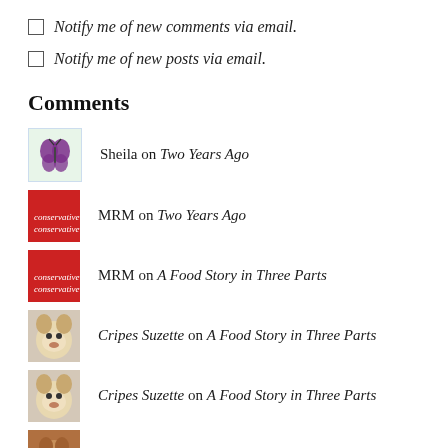Notify me of new comments via email.
Notify me of new posts via email.
Comments
Sheila on Two Years Ago
MRM on Two Years Ago
MRM on A Food Story in Three Parts
Cripes Suzette on A Food Story in Three Parts
Cripes Suzette on A Food Story in Three Parts
pamibe on A Food Story in Three Parts
Sheila on A Food Story in Three Parts